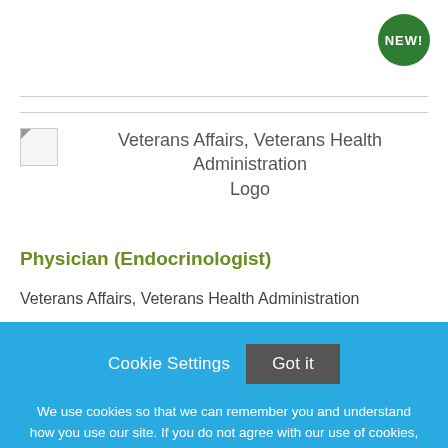[Figure (logo): NEW! badge - green circular badge with white bold text]
[Figure (logo): Veterans Affairs, Veterans Health Administration Logo placeholder image]
Veterans Affairs, Veterans Health Administration Logo
Physician (Endocrinologist)
Veterans Affairs, Veterans Health Administration
Prescott, Arizona
Cookie Settings
Got it
We use cookies so that we can remember you and understand how you use our site. If you do not agree with our use of cookies, please change the current settings found in our Cookie Policy. Otherwise, you agree to the use of the cookies as they are currently set.